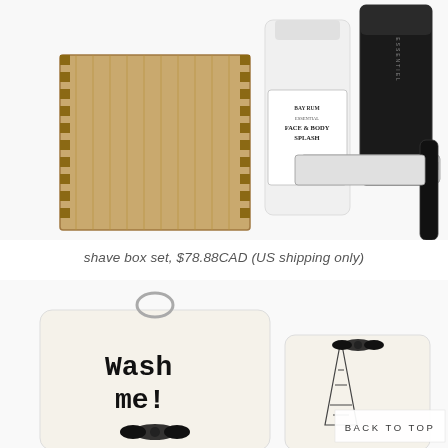MENU
[Figure (photo): Product photo of a shave box set including a bamboo wooden box, a Bay Rum Face & Body Splash bottle, a black grooming product container, and a safety razor with a black handle on a white background.]
shave box set, $78.88CAD (US shipping only)
[Figure (photo): Product photo of two cream/white drawstring bags — one labeled 'Wash me!' with a black bow tie, and another smaller bag with an illustrated Eiffel Tower design and a black bow tie. A back to top button is overlaid in the bottom right.]
BACK TO TOP